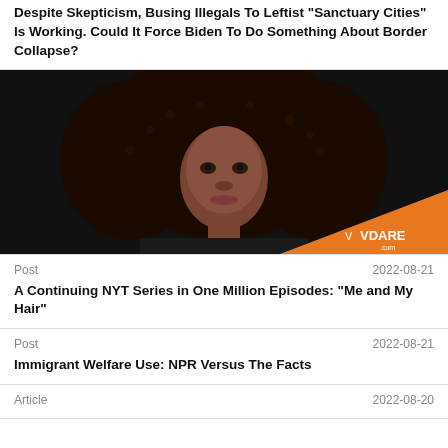Despite Skepticism, Busing Illegals To Leftist "Sanctuary Cities" Is Working. Could It Force Biden To Do Something About Border Collapse?
[Figure (photo): Portrait photo of a young Black woman with voluminous curly hair against a dark background, with VDARE logo in bottom right corner on an orange triangle]
Post   2022-08-21
A Continuing NYT Series in One Million Episodes: "Me and My Hair"
Post   2022-08-21
Immigrant Welfare Use: NPR Versus The Facts
Article   2022-08-20